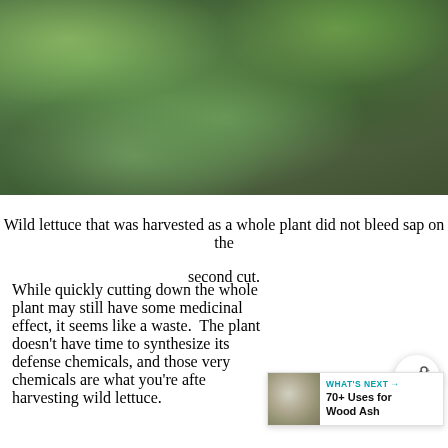[Figure (photo): Close-up photograph of wild lettuce plant with green leaves, dark background, harvested wild lettuce]
Wild lettuce that was harvested as a whole plant did not bleed sap on the second cut.
While quickly cutting down the whole plant may still have some medicinal effect, it seems like a waste. The plant doesn't have time to synthesize its defense chemicals, and those very chemicals are what you're after harvesting wild lettuce.